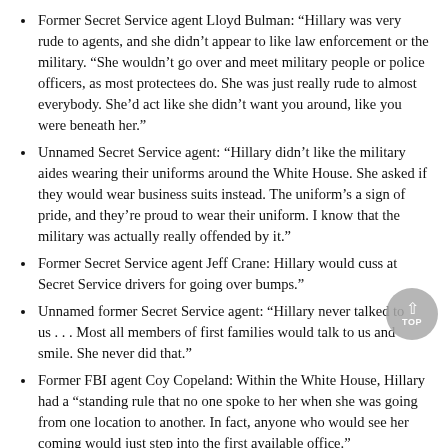Former Secret Service agent Lloyd Bulman: “Hillary was very rude to agents, and she didn’t appear to like law enforcement or the military. “She wouldn’t go over and meet military people or police officers, as most protectees do. She was just really rude to almost everybody. She’d act like she didn’t want you around, like you were beneath her.”
Unnamed Secret Service agent: “Hillary didn’t like the military aides wearing their uniforms around the White House. She asked if they would wear business suits instead. The uniform’s a sign of pride, and they’re proud to wear their uniform. I know that the military was actually really offended by it.”
Former Secret Service agent Jeff Crane: Hillary would cuss at Secret Service drivers for going over bumps.”
Unnamed former Secret Service agent: "Hillary never talked to us . . . Most all members of first families would talk to us and smile. She never did that.”
Former FBI agent Coy Copeland: Within the White House, Hillary had a “standing rule that no one spoke to her when she was going from one location to another. In fact, anyone who would see her coming would just step into the first available office.”
Unnamed former Secret Service agent: “If Hillary was walking down a hall, you were supposed to hide behind drapes used as partitions.”